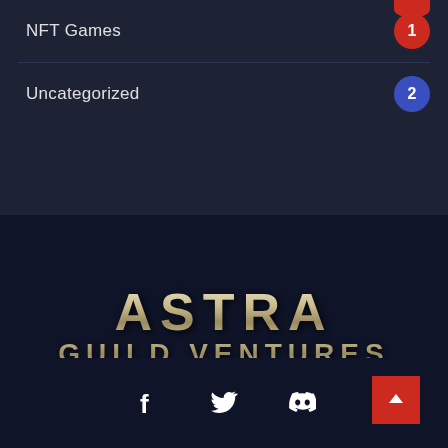NFT Games
Uncategorized
[Figure (logo): Astra Guild Ventures logo — stylized metallic gold text with 'ASTRA' in large lettering above 'GUILD VENTURES' on a dark navy background]
[Figure (infographic): Footer with social media icons: Facebook (f), Twitter (bird), Discord (controller icon) and a red scroll-to-top button with upward arrow]